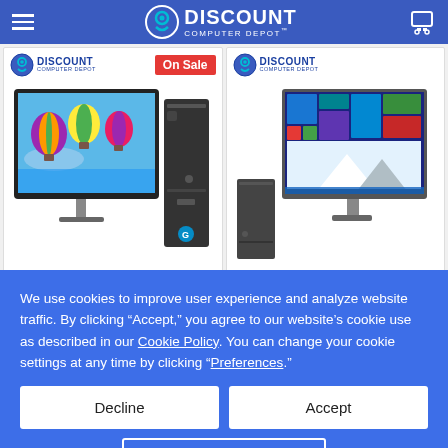Discount Computer Depot
[Figure (screenshot): Product card 1: Discount Computer Depot logo with On Sale badge, showing HP desktop computer with monitor displaying hot air balloons]
[Figure (screenshot): Product card 2: Discount Computer Depot logo, showing HP small form factor desktop with monitor displaying Windows 10 desktop]
We use cookies to improve user experience and analyze website traffic. By clicking “Accept,” you agree to our website’s cookie use as described in our Cookie Policy. You can change your cookie settings at any time by clicking “Preferences.”
Decline
Accept
Preferences